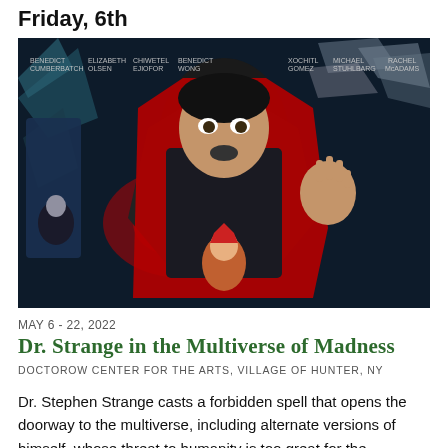Friday, 6th
[Figure (photo): Movie poster for Doctor Strange in the Multiverse of Madness showing Benedict Cumberbatch as Doctor Strange in his red cape with hands raised, surrounded by other Marvel characters, with actor name credits at the top]
MAY 6 - 22, 2022
Dr. Strange in the Multiverse of Madness
DOCTOROW CENTER FOR THE ARTS, VILLAGE OF HUNTER, NY
Dr. Stephen Strange casts a forbidden spell that opens the doorway to the multiverse, including alternate versions of himself, whose threat to humanity is too great for the combined